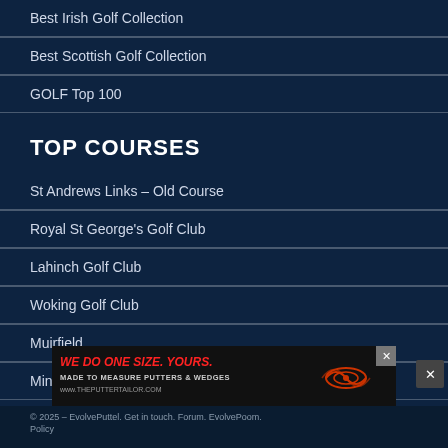Best Irish Golf Collection
Best Scottish Golf Collection
GOLF Top 100
TOP COURSES
St Andrews Links – Old Course
Royal St George's Golf Club
Lahinch Golf Club
Woking Golf Club
Muirfield
Minchinhampton Golf Club
© 2025 – EvolvePuttel. Get in touch. Forum. EvolvePoom.
[Figure (infographic): Advertisement banner for ThePutterTailor.com: 'WE DO ONE SIZE. YOURS. MADE TO MEASURE PUTTERS & WEDGES www.THEPUTTERTAILOR.COM' with a winged logo]
Policy